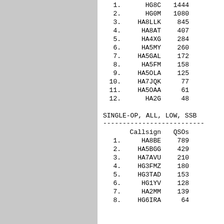|  | Callsign | QSOs |
| --- | --- | --- |
| 1. | HG8C | 1444 |
| 2. | HG0M | 1080 |
| 3. | HA8LLK | 845 |
| 4. | HA8AT | 407 |
| 5. | HA4XG | 284 |
| 6. | HA5MY | 260 |
| 7. | HA5GAL | 172 |
| 8. | HA5FM | 158 |
| 9. | HA5OLA | 125 |
| 10. | HA7JQK | 77 |
| 11. | HA5OAA | 61 |
| 12. | HA2G | 48 |
SINGLE-OP, ALL, LOW, SSB
|  | Callsign | QSOs |
| --- | --- | --- |
| 1. | HA8BE | 789 |
| 2. | HA5BGG | 429 |
| 3. | HA7AVU | 210 |
| 4. | HG3FMZ | 180 |
| 5. | HG3TAD | 153 |
| 6. | HG1YV | 128 |
| 7. | HA2MM | 139 |
| 8. | HG6IRA | 64 |